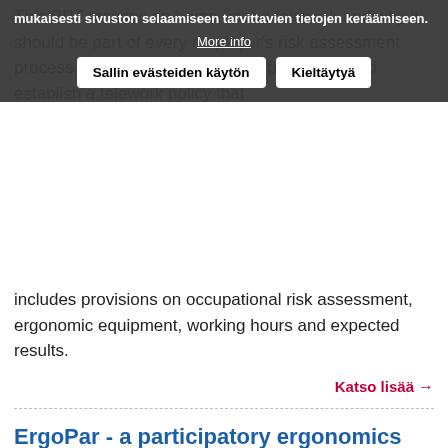This PPT focuses on home-based telework and why it should be part of every employer's risk assessment process. It also brings up how employers should establish a telework policy that includes provisions on occupational risk assessment, ergonomic equipment, working hours and expected results.
Katso lisää →
ErgoPar - a participatory ergonomics approach to preventing risks in the workplace
Case study
Espanja
English
EU-OSHA
This case study outlines ErgoPar (Ergonomía participativa), a participatory ergonomics